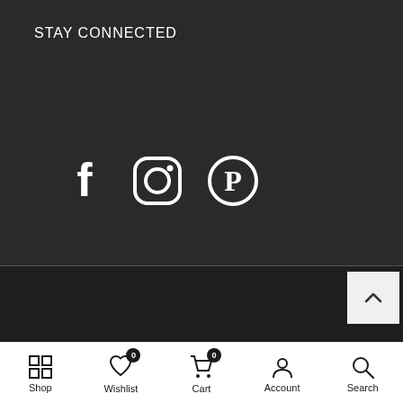STAY CONNECTED
[Figure (illustration): Social media icons: Facebook, Instagram, Pinterest in a row, and YouTube below]
SHOWROOM HOURS  Mon-Fri  9am - 5pm CST  |  7...
Washington Ave S, St. Edina, MN, 55439 USA
Shop  Wishlist 0  Cart 0  Account  Search